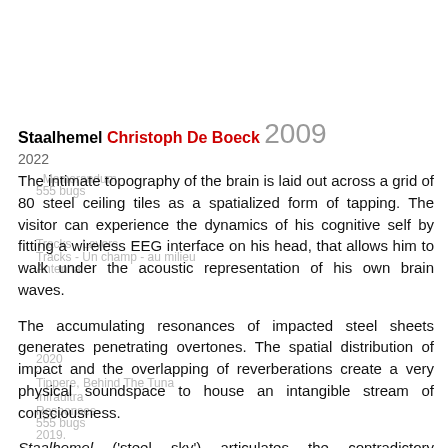Staalhemel Christoph De Boeck 2009
2022
The intimate topography of the brain is laid out across a grid of 80 steel ceiling tiles as a spatialized form of tapping. The visitor can experience the dynamics of his cognitive self by fitting a wireless EEG interface on his head, that allows him to walk under the acoustic representation of his own brain waves.
The accumulating resonances of impacted steel sheets generates penetrating overtones. The spatial distribution of impact and the overlapping of reverberations create a very physical soundspace to house an intangible stream of consciousness.
Staalhemel ('steel sky') articulates the contradictory relationship we entertain with our own nervous system.